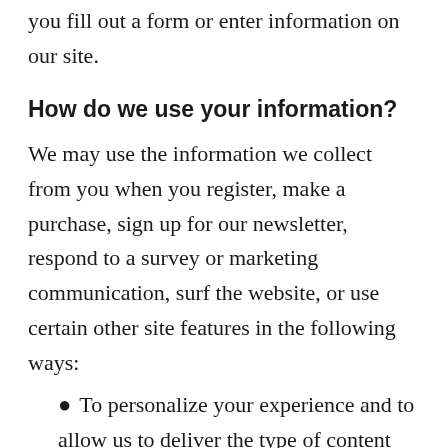you fill out a form or enter information on our site.
How do we use your information?
We may use the information we collect from you when you register, make a purchase, sign up for our newsletter, respond to a survey or marketing communication, surf the website, or use certain other site features in the following ways:
To personalize your experience and to allow us to deliver the type of content and product offerings in which you are most interested.